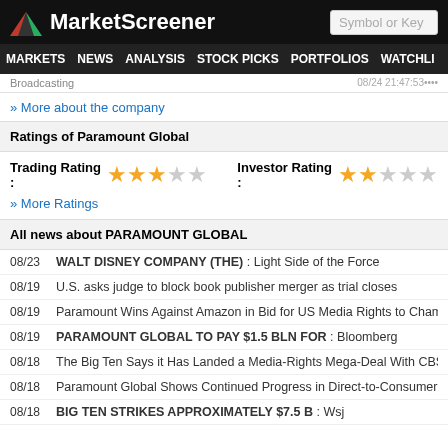MarketScreener
Broadcasting
» More about the company
Ratings of Paramount Global
Trading Rating : ★★★☆☆   Investor Rating : ★★☆☆☆
» More Ratings
All news about PARAMOUNT GLOBAL
08/23  WALT DISNEY COMPANY (THE) : Light Side of the Force
08/19  U.S. asks judge to block book publisher merger as trial closes
08/19  Paramount Wins Against Amazon in Bid for US Media Rights to Champion
08/19  PARAMOUNT GLOBAL TO PAY $1.5 BLN FOR : Bloomberg
08/18  The Big Ten Says it Has Landed a Media-Rights Mega-Deal With CBS, NB
08/18  Paramount Global Shows Continued Progress in Direct-to-Consumer Segm
08/18  BIG TEN STRIKES APPROXIMATELY $7.5 B : Wsj